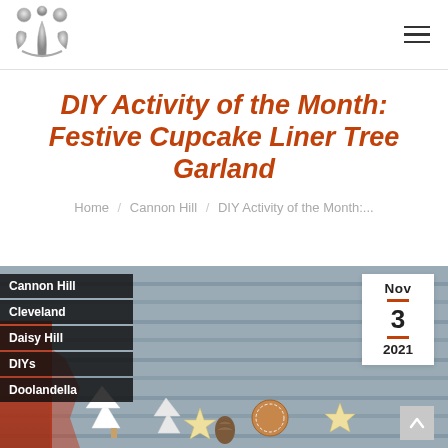Logo and navigation hamburger menu
DIY Activity of the Month: Festive Cupcake Liner Tree Garland
Home / Cannon Hill / DIY Activity of the Month:...
[Figure (photo): A festive photo showing Christmas decorations including tree shapes, gingerbread, and stars on a wooden background. Overlaid with category labels (Cannon Hill, Cleveland, Daisy Hill, DIYs, Doolandella), a date badge showing Nov 3 2021, and a scroll-up button.]